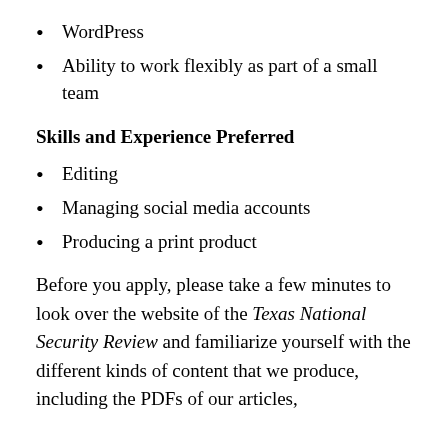WordPress
Ability to work flexibly as part of a small team
Skills and Experience Preferred
Editing
Managing social media accounts
Producing a print product
Before you apply, please take a few minutes to look over the website of the Texas National Security Review and familiarize yourself with the different kinds of content that we produce, including the PDFs of our articles,